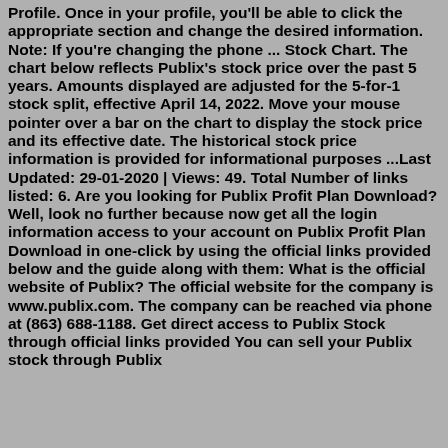Profile. Once in your profile, you'll be able to click the appropriate section and change the desired information. Note: If you're changing the phone ... Stock Chart. The chart below reflects Publix's stock price over the past 5 years. Amounts displayed are adjusted for the 5-for-1 stock split, effective April 14, 2022. Move your mouse pointer over a bar on the chart to display the stock price and its effective date. The historical stock price information is provided for informational purposes ...Last Updated: 29-01-2020 | Views: 49. Total Number of links listed: 6. Are you looking for Publix Profit Plan Download? Well, look no further because now get all the login information access to your account on Publix Profit Plan Download in one-click by using the official links provided below and the guide along with them: What is the official website of Publix? The official website for the company is www.publix.com. The company can be reached via phone at (863) 688-1188. Get direct access to Publix Stock through official links provided You can sell your Publix stock through Publix